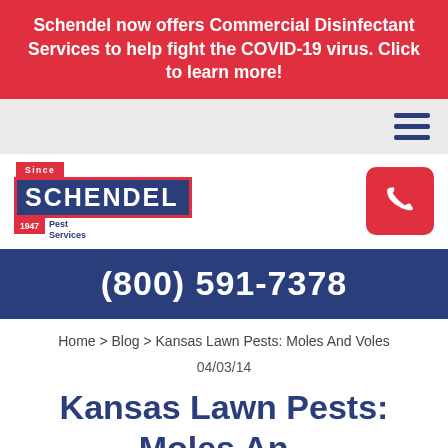Schendel now offers Commercial Disinfectant Services to help fight the COVID-19 virus. Click to learn more!
[Figure (logo): Schendel Pest Services logo with blue background and red border, established 1947]
[Figure (other): Phone call button (red rounded square with white phone icon)]
(800) 591-7378
Home > Blog > Kansas Lawn Pests: Moles And Voles
04/03/14
Kansas Lawn Pests: Moles And Voles